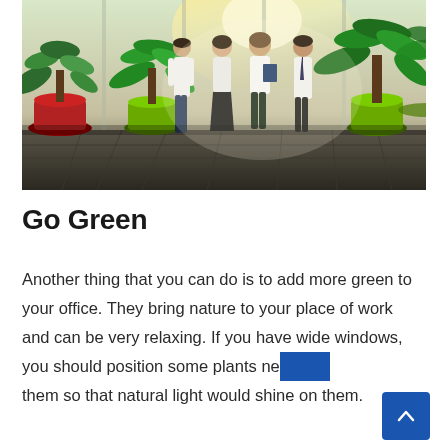[Figure (photo): Four business professionals walking through a bright, plant-filled office lobby. Large green potted plants surround them, with sunlight streaming through floor-to-ceiling windows in the background.]
Go Green
Another thing that you can do is to add more green to your office. They bring nature to your place of work and can be very relaxing. If you have wide windows, you should position some plants near them so that natural light would shine on them.